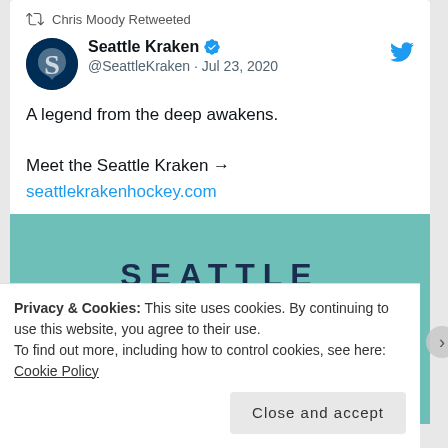Chris Moody Retweeted
Seattle Kraken @SeattleKraken · Jul 23, 2020
A legend from the deep awakens.

Meet the Seattle Kraken →
seattlekrakenhockey.com
[Figure (screenshot): Seattle Kraken logo/text on teal background with video play button overlay]
Privacy & Cookies: This site uses cookies. By continuing to use this website, you agree to their use.
To find out more, including how to control cookies, see here: Cookie Policy
Close and accept